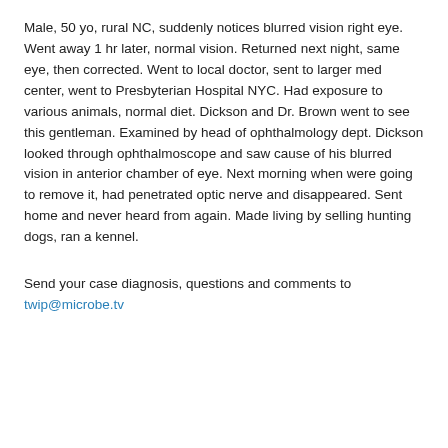Male, 50 yo, rural NC, suddenly notices blurred vision right eye. Went away 1 hr later, normal vision. Returned next night, same eye, then corrected. Went to local doctor, sent to larger med center, went to Presbyterian Hospital NYC. Had exposure to various animals, normal diet. Dickson and Dr. Brown went to see this gentleman. Examined by head of ophthalmology dept. Dickson looked through ophthalmoscope and saw cause of his blurred vision in anterior chamber of eye. Next morning when were going to remove it, had penetrated optic nerve and disappeared. Sent home and never heard from again. Made living by selling hunting dogs, ran a kennel.
Send your case diagnosis, questions and comments to twip@microbe.tv